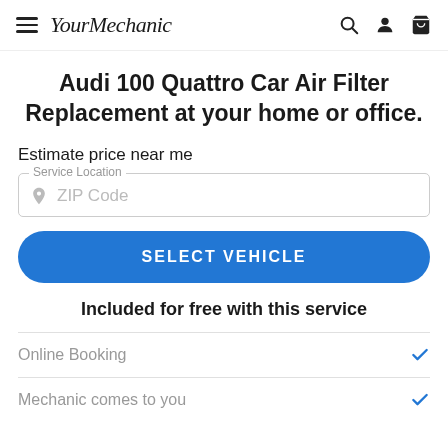YourMechanic
Audi 100 Quattro Car Air Filter Replacement at your home or office.
Estimate price near me
Service Location — ZIP Code
SELECT VEHICLE
Included for free with this service
Online Booking ✓
Mechanic comes to you ✓